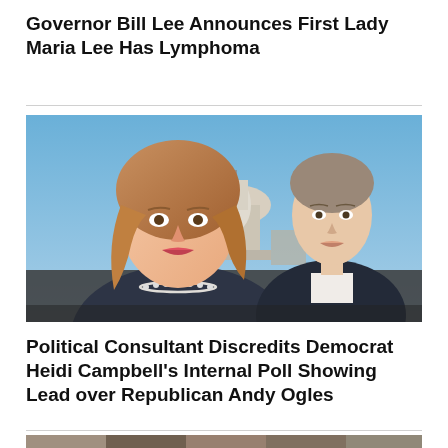Governor Bill Lee Announces First Lady Maria Lee Has Lymphoma
[Figure (photo): A woman with long reddish-blonde hair wearing a pearl necklace and dark blazer smiles in the foreground; a man in a dark suit with white shirt smiles in the background; the US Capitol building dome is visible behind them against a blue sky.]
Political Consultant Discredits Democrat Heidi Campbell's Internal Poll Showing Lead over Republican Andy Ogles
[Figure (photo): Partially visible photo at bottom of page, cropped.]